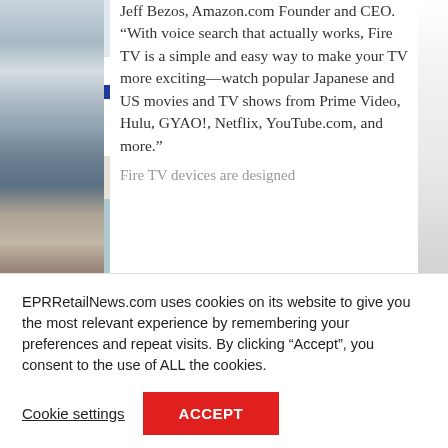[Figure (photo): Partial view of a product/store image on the left side of the page, cropped]
Jeff Bezos, Amazon.com Founder and CEO. “With voice search that actually works, Fire TV is a simple and easy way to make your TV more exciting—watch popular Japanese and US movies and TV shows from Prime Video, Hulu, GYAO!, Netflix, YouTube.com, and more.”
Fire TV devices are designed
EPRRetailNews.com uses cookies on its website to give you the most relevant experience by remembering your preferences and repeat visits. By clicking “Accept”, you consent to the use of ALL the cookies.
Cookie settings
ACCEPT